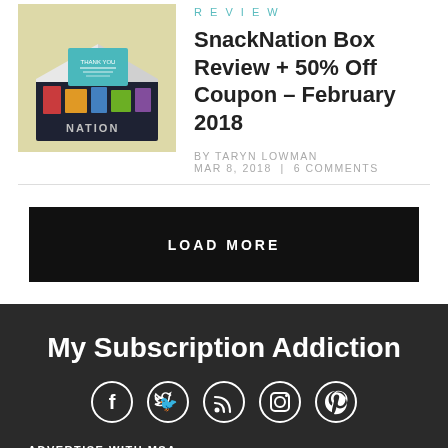[Figure (photo): Photo of SnackNation subscription box open with snacks inside, on a yellow background]
REVIEW
SnackNation Box Review + 50% Off Coupon – February 2018
BY TARYN LOWMAN
MAR 8, 2018 | 6 COMMENTS
LOAD MORE
My Subscription Addiction
[Figure (infographic): Social media icons: Facebook, Twitter, RSS, Instagram, Pinterest]
ADVERTISE WITH MSA
Grow your brand with authentic customer reviews.